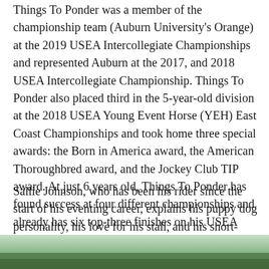Things To Ponder was a member of the championship team (Auburn University's Orange) at the 2019 USEA Intercollegiate Championships and represented Auburn at the 2017, and 2018 USEA Intercollegiate Championship. Things To Ponder also placed third in the 5-year-old division at the 2018 USEA Young Event Horse (YEH) East Coast Championships and took home three special awards: the Born in America award, the American Thoroughbred award, and the Jockey Club TIP award. At just 6 years old, Things To Ponder has found success at four different championships and already has six top-three finishes on his USEA record.
Sallie Johnson, who has been his rider since the start of his eventing career, explains his puppy dog personality, his love for his stall, and his short-lived racing career.
[Figure (photo): Bottom strip showing a partial outdoor photo, green/natural tones visible at the bottom of the page.]